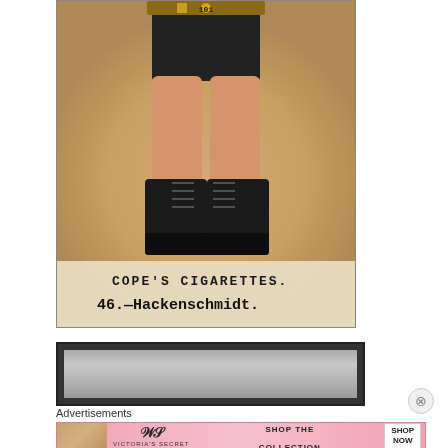[Figure (illustration): Vintage cigarette card showing the lower body of a wrestler or strongman in black shorts and black lace-up boots, with text at the bottom reading 'COPE'S CIGARETTES.' and '46.—Hackenschmidt.']
[Figure (photo): Partial second vintage card or image, mostly obscured, with grey tones visible]
Advertisements
[Figure (infographic): Victoria's Secret advertisement banner with pink background showing a woman's face on the left, Victoria's Secret logo in center, and text 'SHOP THE COLLECTION' with a 'SHOP NOW' button on the right]